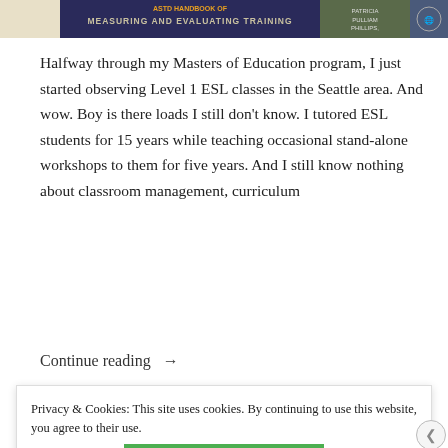[Figure (photo): Book spines including ASTD Handbook of Measuring and Evaluating Training and other books]
Halfway through my Masters of Education program, I just started observing Level 1 ESL classes in the Seattle area. And wow. Boy is there loads I still don't know. I tutored ESL students for 15 years while teaching occasional stand-alone workshops to them for five years. And I still know nothing about classroom management, curriculum
Continue reading →
Privacy & Cookies: This site uses cookies. By continuing to use this website, you agree to their use.
To find out more, including how to control cookies, see here: Cookie Policy
Close and accept